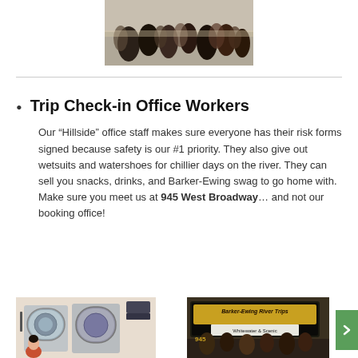[Figure (photo): A crowd of people viewed from behind at an outdoor event or gathering.]
Trip Check-in Office Workers
Our “Hillside” office staff makes sure everyone has their risk forms signed because safety is our #1 priority. They also give out wetsuits and watershoes for chillier days on the river. They can sell you snacks, drinks, and Barker-Ewing swag to go home with. Make sure you meet us at 945 West Broadway… and not our booking office!
[Figure (photo): Interior photo showing laundry machines with a person standing nearby.]
[Figure (photo): Exterior storefront sign reading Barker-Ewing River Trips Whitewater & Scenic.]